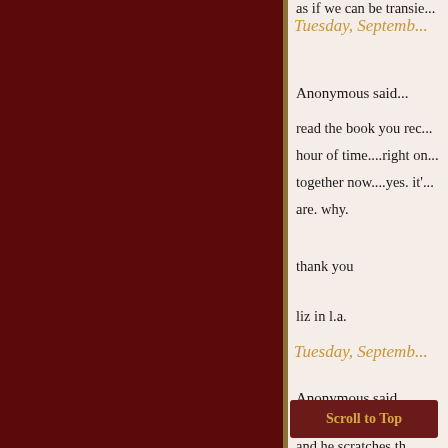as if we can be transie...
Tuesday, Septemb...
Anonymous said...
read the book you rec... hour of time....right on... together now....yes. it'... are. why.
thank you
liz in l.a.
Tuesday, Septemb...
Anonymous said...
"He's... t... and he scratches th...
Scroll to Top